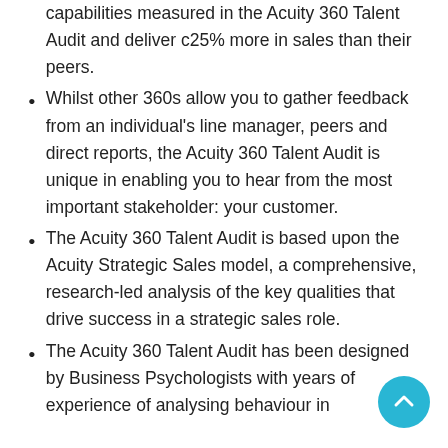capabilities measured in the Acuity 360 Talent Audit and deliver c25% more in sales than their peers.
Whilst other 360s allow you to gather feedback from an individual's line manager, peers and direct reports, the Acuity 360 Talent Audit is unique in enabling you to hear from the most important stakeholder: your customer.
The Acuity 360 Talent Audit is based upon the Acuity Strategic Sales model, a comprehensive, research-led analysis of the key qualities that drive success in a strategic sales role.
The Acuity 360 Talent Audit has been designed by Business Psychologists with years of experience of analysing behaviour in